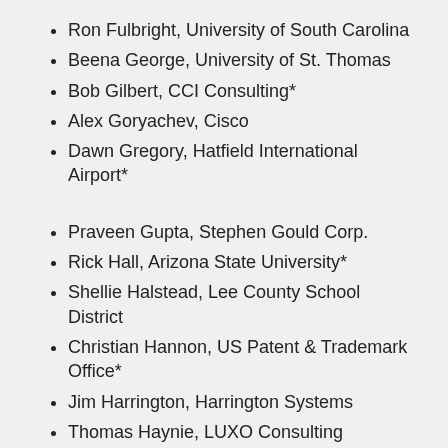Ron Fulbright, University of South Carolina
Beena George, University of St. Thomas
Bob Gilbert, CCI Consulting*
Alex Goryachev, Cisco
Dawn Gregory, Hatfield International Airport*
Praveen Gupta, Stephen Gould Corp.
Rick Hall, Arizona State University*
Shellie Halstead, Lee County School District
Christian Hannon, US Patent & Trademark Office*
Jim Harrington, Harrington Systems
Thomas Haynie, LUXO Consulting